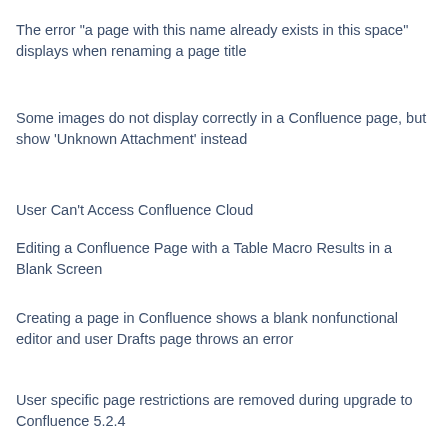The error "a page with this name already exists in this space" displays when renaming a page title
Some images do not display correctly in a Confluence page, but show 'Unknown Attachment' instead
User Can't Access Confluence Cloud
Editing a Confluence Page with a Table Macro Results in a Blank Screen
Creating a page in Confluence shows a blank nonfunctional editor and user Drafts page throws an error
User specific page restrictions are removed during upgrade to Confluence 5.2.4